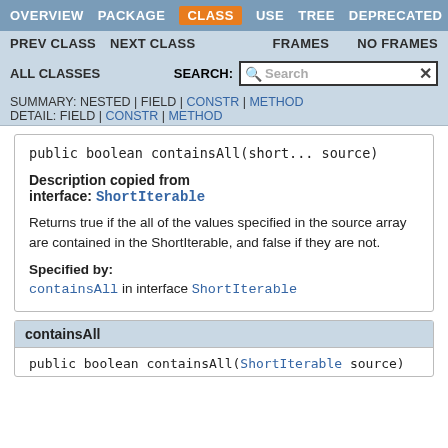OVERVIEW   PACKAGE   CLASS   USE   TREE   DEPRECATED
PREV CLASS   NEXT CLASS   FRAMES   NO FRAMES
ALL CLASSES   SEARCH:
SUMMARY: NESTED | FIELD | CONSTR | METHOD   DETAIL: FIELD | CONSTR | METHOD
Description copied from interface: ShortIterable
Returns true if the all of the values specified in the source array are contained in the ShortIterable, and false if they are not.
Specified by:
containsAll in interface ShortIterable
containsAll